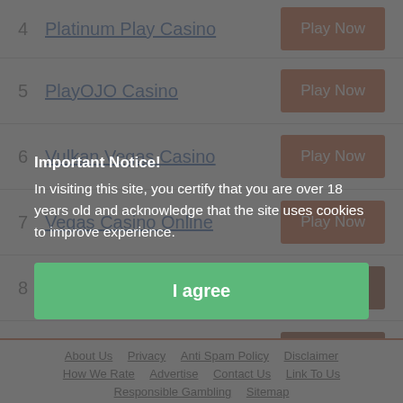4  Platinum Play Casino  Play Now
5  PlayOJO Casino  Play Now
6  Vulkan Vegas Casino  Play Now
7  Vegas Casino Online  Play Now
8  JackpotCity Casino  Play Now
9  1xSlots Casino  Play Now
Important Notice!
In visiting this site, you certify that you are over 18 years old and acknowledge that the site uses cookies to improve experience.
I agree
About Us  Privacy  Anti Spam Policy  Disclaimer  How We Rate  Advertise  Contact Us  Link To Us  Responsible Gambling  Sitemap